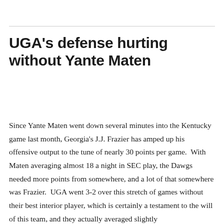UGA's defense hurting without Yante Maten
Since Yante Maten went down several minutes into the Kentucky game last month, Georgia's J.J. Frazier has amped up his offensive output to the tune of nearly 30 points per game.  With Maten averaging almost 18 a night in SEC play, the Dawgs needed more points from somewhere, and a lot of that somewhere was Frazier.  UGA went 3-2 over this stretch of games without their best interior player, which is certainly a testament to the will of this team, and they actually averaged slightly